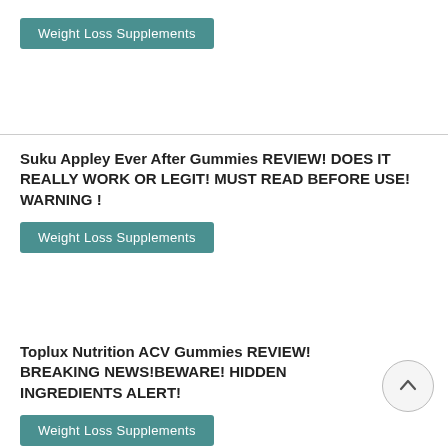Weight Loss Supplements
Suku Appley Ever After Gummies REVIEW! DOES IT REALLY WORK OR LEGIT! MUST READ BEFORE USE! WARNING !
Weight Loss Supplements
Toplux Nutrition ACV Gummies REVIEW! BREAKING NEWS!BEWARE! HIDDEN INGREDIENTS ALERT!
Weight Loss Supplements